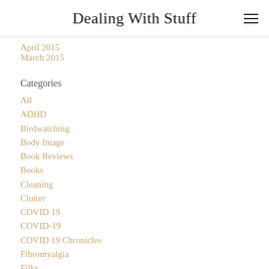Dealing With Stuff
April 2015
March 2015
Categories
All
ADHD
Birdwatching
Body Image
Book Reviews
Books
Cleaning
Clutter
COVID 19
COVID-19
COVID 19 Chronicles
Fibromyalgia
Filks